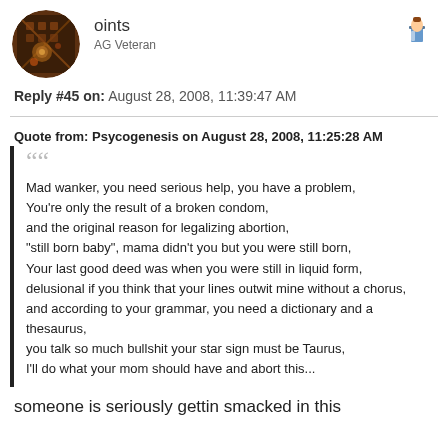[Figure (photo): Circular avatar image showing a dark mechanical/steampunk style background]
oints
AG Veteran
Reply #45 on: August 28, 2008, 11:39:47 AM
Quote from: Psycogenesis on August 28, 2008, 11:25:28 AM
Mad wanker, you need serious help, you have a problem,
You're only the result of a broken condom,
and the original reason for legalizing abortion,
"still born baby", mama didn't you but you were still born,
Your last good deed was when you were still in liquid form,
delusional if you think that your lines outwit mine without a chorus,
and according to your grammar, you need a dictionary and a thesaurus,
you talk so much bullshit your star sign must be Taurus,
I'll do what your mom should have and abort this...
someone is seriously gettin smacked in this